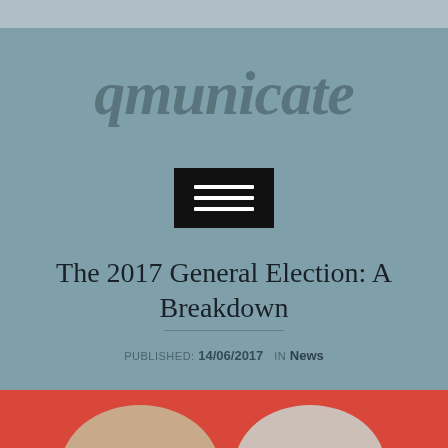qmunicate
[Figure (screenshot): Black hamburger menu button with three white horizontal lines]
The 2017 General Election: A Breakdown
Published: 14/06/2017   in News
[Figure (photo): Partial photo of two people against a red background, visible from chin up at bottom of page]